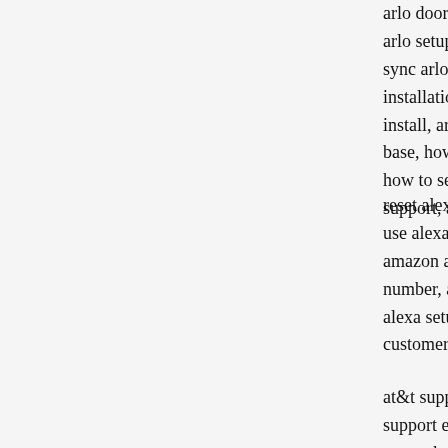arlo doorbell install, arlo camera setup, arlo customer service, arlo setup, arlo customer support, arlo base station setup, arlo sync arlo camera, arlo camera setup, arlo setup, arlo camera installation, arlo pro 4 setup, arlo firmware update, arlo login install, arlo essential spotlight camera setup, arlo pro 3 setup base, how to set up arlo camera, arlo camera customer service, how to set up arlo, contact arlo, arlo help, how to connect arlo support, arlo support phone number,
reset alexa, how to reset alexa, how to reset amazon alexa, ac use alexa, call alexa, amazon alexa customer service, alexa s amazon alexa tech support, amazon alexa support number, a number, amazon alexa help, amazon alexa customer support, alexa setup help, alexa phone number, alexa help section, ale customer service number, set up amazon alexa, alexa settings
at&t support, att internet outage, att outages, att outage, at& support email, att help, att services, att service down, is att d network down, is att down in my area, is att service down, at att, att wireless outage, att power outage, att outage near me, at&t outage today, at&t service outage, att wifi outage, att em support, att tech support, call att support, att help line, at&t h at&t problems, att email setting, att email help, email att sup network outage, att helpline, att email not working, att inbo